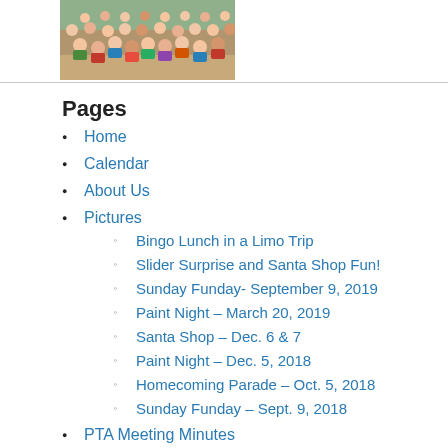[Figure (photo): Group photo of children (classroom or school group) viewed from above, showing a large crowd of kids.]
Pages
Home
Calendar
About Us
Pictures
Bingo Lunch in a Limo Trip
Slider Surprise and Santa Shop Fun!
Sunday Funday- September 9, 2019
Paint Night – March 20, 2019
Santa Shop – Dec. 6 & 7
Paint Night – Dec. 5, 2018
Homecoming Parade – Oct. 5, 2018
Sunday Funday – Sept. 9, 2018
PTA Meeting Minutes